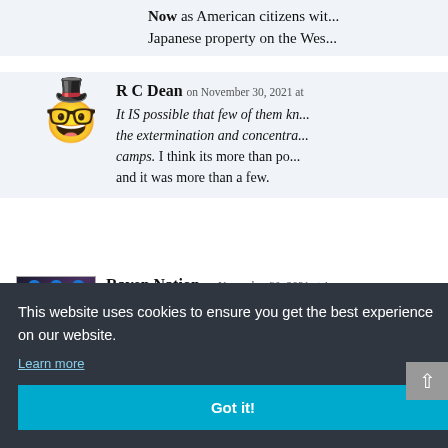Now as American citizens with... Japanese property on the Wes...
R C Dean on November 30, 2021 at
It IS possible that few of them kn... the extermination and concentra... camps. I think its more than po... and it was more than a few.
Raven Nation on November 30, 2021 at 1
One of the lines I (partially) remembe... After the... tion: 'wh... g to do?'... all, he'd b...
This website uses cookies to ensure you get the best experience on our website.
Learn more
Got it!
ber 30, 202
Hitler wrote a book basically o...